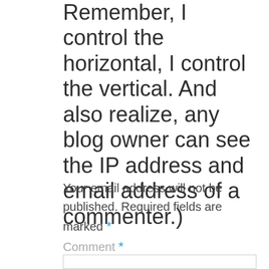Remember, I control the horizontal, I control the vertical. And also realize, any blog owner can see the IP address and email address of a commenter.)
Your email address will not be published. Required fields are marked *
Comment *